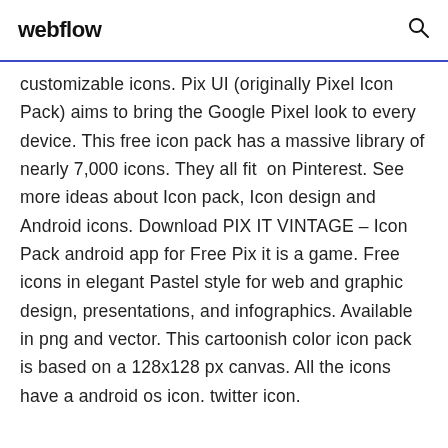webflow
customizable icons. Pix UI (originally Pixel Icon Pack) aims to bring the Google Pixel look to every device. This free icon pack has a massive library of nearly 7,000 icons. They all fit on Pinterest. See more ideas about Icon pack, Icon design and Android icons. Download PIX IT VINTAGE – Icon Pack android app for Free Pix it is a game. Free icons in elegant Pastel style for web and graphic design, presentations, and infographics. Available in png and vector. This cartoonish color icon pack is based on a 128x128 px canvas. All the icons have a android os icon. twitter icon.